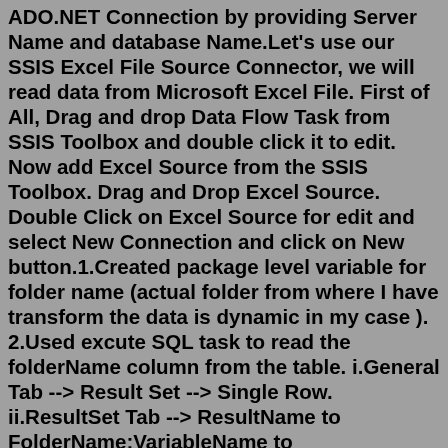ADO.NET Connection by providing Server Name and database Name.Let's use our SSIS Excel File Source Connector, we will read data from Microsoft Excel File. First of All, Drag and drop Data Flow Task from SSIS Toolbox and double click it to edit. Now add Excel Source from the SSIS Toolbox. Drag and Drop Excel Source. Double Click on Excel Source for edit and select New Connection and click on New button.1.Created package level variable for folder name (actual folder from where I have transform the data is dynamic in my case ). 2.Used excute SQL task to read the folderName column from the table. i.General Tab --> Result Set --> Single Row. ii.ResultSet Tab --> ResultName to FolderName;VariableName to User::folderName.Oct 23, 2009 · Create a File System Task and name it "rename file" Set operation as Rename File and set "FilePathBeforeRename" as source variable and use "FilePathAfterRename" as destination variable. Create a Data Flow Task; Create a Flat File connection with source of your template file and